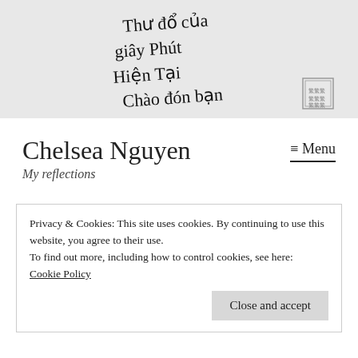[Figure (illustration): Calligraphic handwriting in Vietnamese on a light grey background with a small red/grey seal stamp in the bottom right. Text reads: 'Thư đổ của giây phút hiện tại chào đón bạn']
Chelsea Nguyen
My reflections
≡ Menu
Privacy & Cookies: This site uses cookies. By continuing to use this website, you agree to their use.
To find out more, including how to control cookies, see here:
Cookie Policy
Close and accept